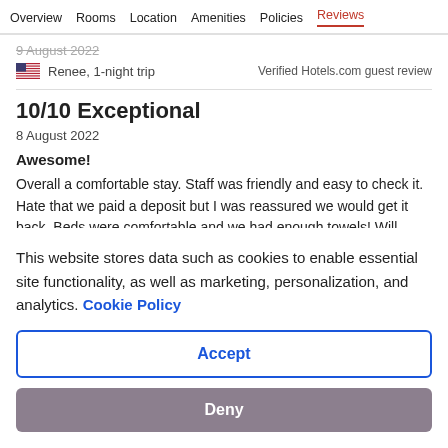Overview  Rooms  Location  Amenities  Policies  Reviews
9 August 2022
Renee, 1-night trip
Verified Hotels.com guest review
10/10 Exceptional
8 August 2022
Awesome!
Overall a comfortable stay. Staff was friendly and easy to check it. Hate that we paid a deposit but I was reassured we would get it back. Beds were comfortable and we had enough towels! Will
This website stores data such as cookies to enable essential site functionality, as well as marketing, personalization, and analytics. Cookie Policy
Accept
Deny